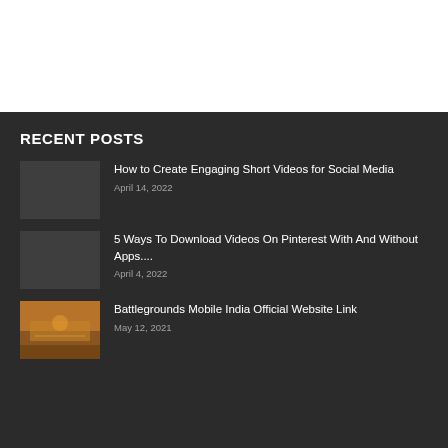RECENT POSTS
How to Create Engaging Short Videos for Social Media
April 14, 2022
5 Ways To Download Videos On Pinterest With And Without Apps....
April 4, 2022
Battlegrounds Mobile India Official Website Link
May 12, 2021